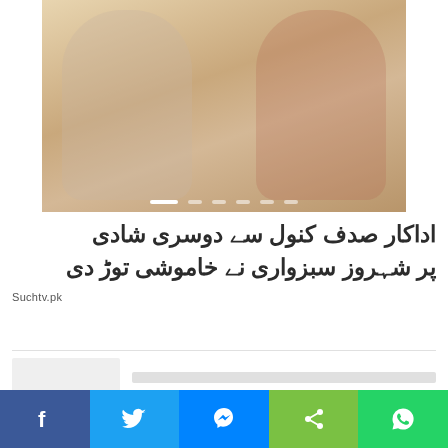[Figure (photo): Photo of two people (a young man in white shirt and a young woman with red dupatta) smiling, with slideshow navigation dots at the bottom]
اداکار صدف کنول سے دوسری شادی پر شہروز سبزواری نے خاموشی توڑ دی
Suchtv.pk
[Figure (photo): Related article thumbnail placeholder (grey box)]
[Figure (photo): Related article thumbnail placeholder (grey box) - partially visible]